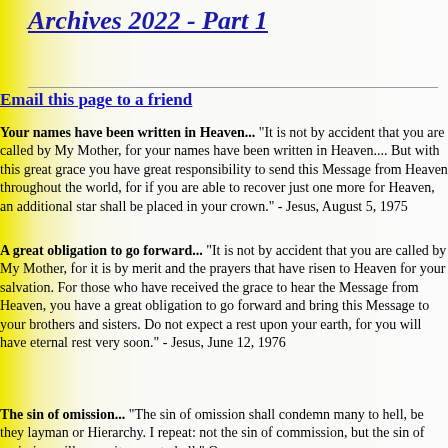Archives 2022 - Part 1
Email this page to a friend
Your names have been written in Heaven... "It is not by accident that you are called by My Mother, for your names have been written in Heaven.... But with this great grace you have great responsibility to send this Message from Heaven throughout the world, for if you are able to recover just one more for Heaven, an additional star shall be placed in your crown." - Jesus, August 5, 1975
A great obligation to go forward... "It is not by accident that you are called by My Mother, for it is by merit and the prayers that have risen to Heaven for your salvation. For those who have received the grace to hear the Message from Heaven, you have a great obligation to go forward and bring this Message to your brothers and sisters. Do not expect a rest upon your earth, for you will have eternal rest very soon." - Jesus, June 12, 1976
The sin of omission... "The sin of omission shall condemn many to hell, be they layman or Hierarchy. I repeat: not the sin of commission, but the sin of omission will commit many to hell." Our